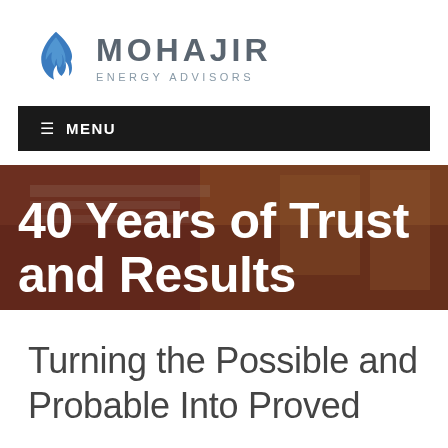[Figure (logo): Mohajir Energy Advisors logo with blue flame icon and company name in gray uppercase letters]
≡ MENU
[Figure (photo): Hero banner showing hands over documents/books with warm reddish-brown tones, overlaid with large white text '40 Years of Trust and Results']
Turning the Possible and Probable Into Proved